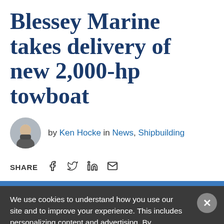Blessey Marine takes delivery of new 2,000-hp towboat
by Ken Hocke in News, Shipbuilding
SHARE
We use cookies to understand how you use our site and to improve your experience. This includes personalizing content and advertising. By continuing to use our site, you accept our use of cookies. To learn more, please review our privacy policy.
Accept Cookies